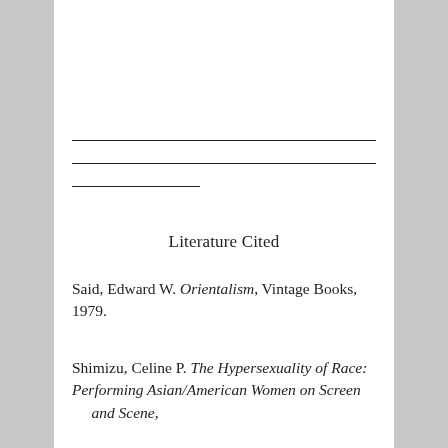Literature Cited
Said, Edward W. Orientalism, Vintage Books, 1979.
Shimizu, Celine P. The Hypersexuality of Race: Performing Asian/American Women on Screen and Scene,